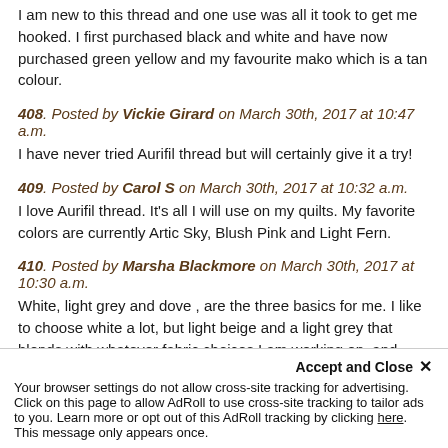I am new to this thread and one use was all it took to get me hooked. I first purchased black and white and have now purchased green yellow and my favourite mako which is a tan colour.
408. Posted by Vickie Girard on March 30th, 2017 at 10:47 a.m.
I have never tried Aurifil thread but will certainly give it a try!
409. Posted by Carol S on March 30th, 2017 at 10:32 a.m.
I love Aurifil thread. It's all I will use on my quilts. My favorite colors are currently Artic Sky, Blush Pink and Light Fern.
410. Posted by Marsha Blackmore on March 30th, 2017 at 10:30 a.m.
White, light grey and dove , are the three basics for me. I like to choose white a lot, but light beige and a light grey that blends with whatever fabric choices I am working on, and these seem to go with most everything. People say they choose threads to match their fabrics, but wouldn't it be wonderful if we could do the opposite. I do the, awwww when I see so many of Aurafills colors.
411. Posted by Joyce Fern March 30th, 2017 at 10:25
Accept and Close ×
Your browser settings do not allow cross-site tracking for advertising. Click on this page to allow AdRoll to use cross-site tracking to tailor ads to you. Learn more or opt out of this AdRoll tracking by clicking here. This message only appears once.